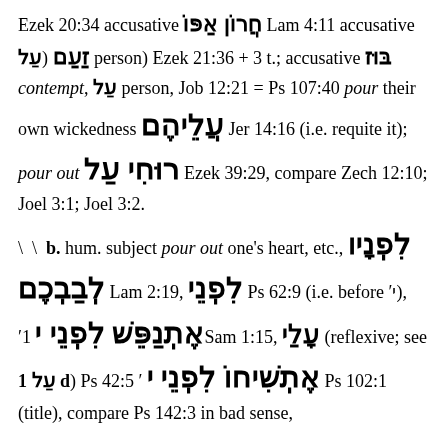Ezek 20:34 accusative חֲרוֹן אַפּוֹ Lam 4:11 accusative זַעַם (עַל person) Ezek 21:36 + 3 t.; accusative בּוּז contempt, עַל person, Job 12:21 = Ps 107:40 pour their own wickedness עֲלֵיהֶם Jer 14:16 (i.e. requite it); pour out רוּחִי עַל Ezek 39:29, compare Zech 12:10; Joel 3:1; Joel 3:2.
\ \ b. hum. subject pour out one's heart, etc., לִפְנָיו לְבַבְכֶם Lam 2:19, לִפְנֵי Ps 62:9 (i.e. before ׳י), ׳י לִפְנֵי אֶתְנַפֵּשׁ 1Sam 1:15, עָלַי (reflexive; see עַל 1 d) Ps 42:5 ׳ אֶתְשִׁיחוֹ לִפְנֵי י Ps 102:1 (title), compare Ps 142:3 in bad sense,